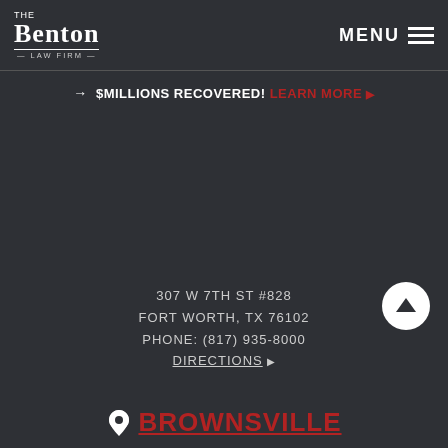[Figure (logo): The Benton Law Firm logo — serif wordmark with decorative rule]
MENU ☰
→ $MILLIONS RECOVERED! LEARN MORE ▶
307 W 7TH ST #828
FORT WORTH, TX 76102
PHONE: (817) 935-8000
DIRECTIONS ▶
📍 BROWNSVILLE